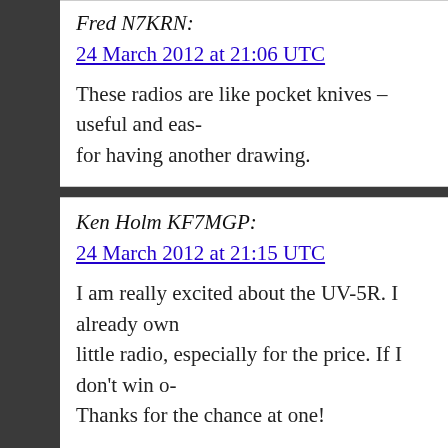Fred N7KRN:
24 March 2012 at 21:06 UTC
These radios are like pocket knives – useful and eas… for having another drawing.
Ken Holm KF7MGP:
24 March 2012 at 21:15 UTC
I am really excited about the UV-5R. I already own… little radio, especially for the price. If I don't win o… Thanks for the chance at one!
Bryan Herbert:
24 March 2012 at 22:06 UTC